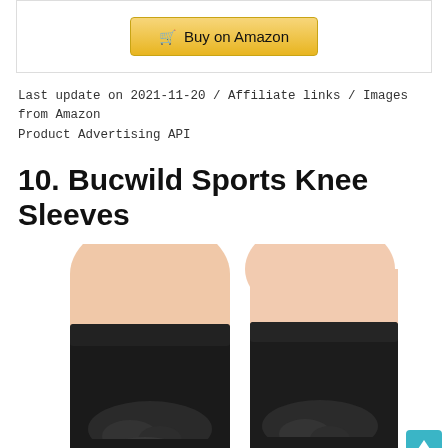[Figure (other): Buy on Amazon button inside a bordered box]
Last update on 2021-11-20 / Affiliate links / Images from Amazon Product Advertising API
10. Bucwild Sports Knee Sleeves
[Figure (photo): Two black knee sleeves worn on legs against a white background, showing the padded knee cap area]